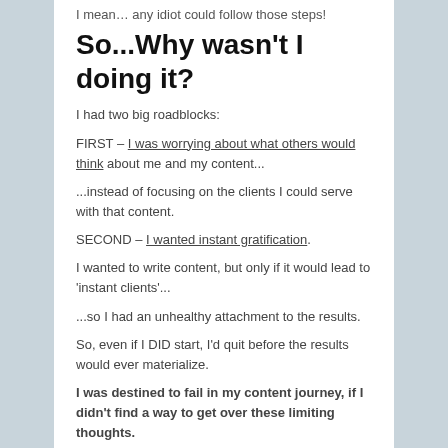I mean… any idiot could follow those steps!
So...Why wasn't I doing it?
I had two big roadblocks:
FIRST – I was worrying about what others would think about me and my content...
...instead of focusing on the clients I could serve with that content.
SECOND – I wanted instant gratification.
I wanted to write content, but only if it would lead to 'instant clients'...
...so I had an unhealthy attachment to the results.
So, even if I DID start, I'd quit before the results would ever materialize.
I was destined to fail in my content journey, if I didn't find a way to get over these limiting thoughts.